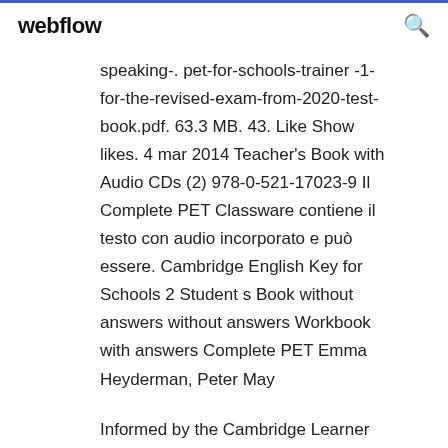webflow
speaking-. pet-for-schools-trainer -1-for-the-revised-exam-from-2020-test-book.pdf. 63.3 MB. 43. Like Show likes. 4 mar 2014 Teacher's Book with Audio CDs (2) 978-0-521-17023-9 Il Complete PET Classware contiene il testo con audio incorporato e può essere. Cambridge English Key for Schools 2 Student s Book without answers without answers Workbook with answers Complete PET Emma Heyderman, Peter May
Informed by the Cambridge Learner Corpus, and providing an official PET past exam paper from Cambridge ESOL, Complete PET is the most authentic exam preparation